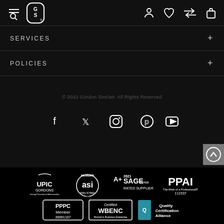GS (Gordon Sinclair logo) navigation bar with hamburger/search, logo, user, wishlist, compare, cart icons
SERVICES +
POLICIES +
© 2022 Gordon Sinclair. All Rights Reserved
[Figure (infographic): Social media icons row: Facebook, Twitter, Instagram, Pinterest, YouTube]
[Figure (logo): Bottom bar with certification logos: UPIC Gordons, ASI Member 85N 57800, A+ 2021 SAGE 50408 Rated Supplier, PPAI 111537, PPPC Member 20091107, Certified WBENC Women's Business Enterprise, Quality Certification Alliance]